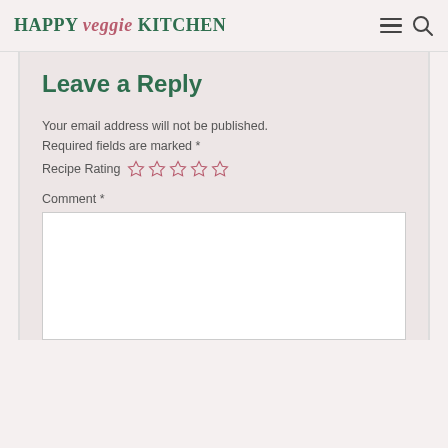HAPPY veggie KiTCHEN
Leave a Reply
Your email address will not be published. Required fields are marked *
Recipe Rating ☆☆☆☆☆
Comment *